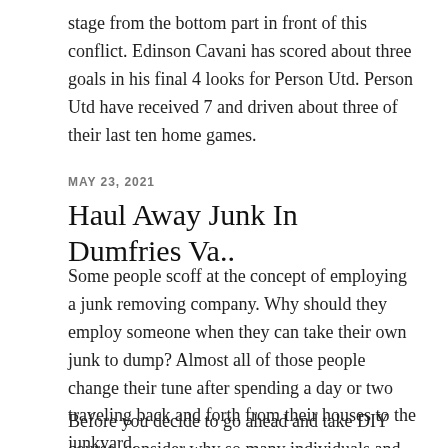stage from the bottom part in front of this conflict. Edinson Cavani has scored about three goals in his final 4 looks for Person Utd. Person Utd have received 7 and driven about three of their last ten home games.
MAY 23, 2021
Haul Away Junk In Dumfries Va..
Some people scoff at the concept of employing a junk removing company. Why should they employ someone when they can take their own junk to dump? Almost all of those people change their tune after spending a day or two traveling back and forth from their houses to the junkyard.
Before you decide to go ahead and take DIY course, consider why so many individuals and companies elect to